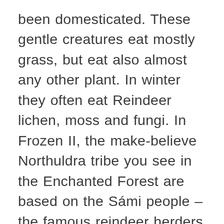been domesticated. These gentle creatures eat mostly grass, but eat also almost any other plant. In winter they often eat Reindeer lichen, moss and fungi. In Frozen II, the make-believe Northuldra tribe you see in the Enchanted Forest are based on the Sámi people – the famous reindeer herders of northern Norway. The Sámi really do use reindeer to pull sleighs through the snow, just like Sven does in the movie. You can read more about the R animal,